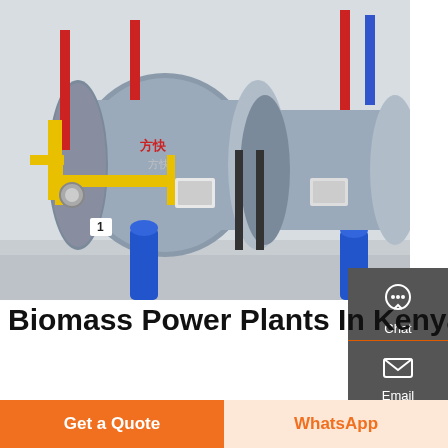[Figure (photo): Industrial biomass/coal-fired boilers in a factory setting with yellow and blue pipes, red pipes, and large cylindrical boiler units with Chinese branding.]
Biomass Power Plants In Kenya – Industrial Boiler Supplier
Mar 04, 2019 · 5mw coal fired hot water boiler in Russia. J0000002 6 2017. boiler sparesparts
Chat
Email
Contact
Get a Quote
WhatsApp